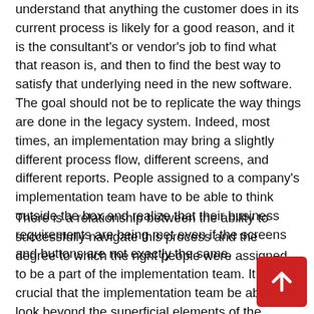understand that anything the customer does in its current process is likely for a good reason, and it is the consultant's or vendor's job to find what that reason is, and then to find the best way to satisfy that underlying need in the new software. The goal should not be to replicate the way things are done in the legacy system. Indeed, most times, an implementation may bring a slightly different process flow, different screens, and different reports. People assigned to a company's implementation team have to be able to think outside the box and realize that their business requirements are being met even if the screens and buttons are not exactly the same.
There is a relationship between the ability to successfully navigate this process and the degree to which the right people were assigned to be a part of the implementation team. It is crucial that the implementation team be able to look beyond the superficial elements of the legacy system and see past the screens and reports to which they have